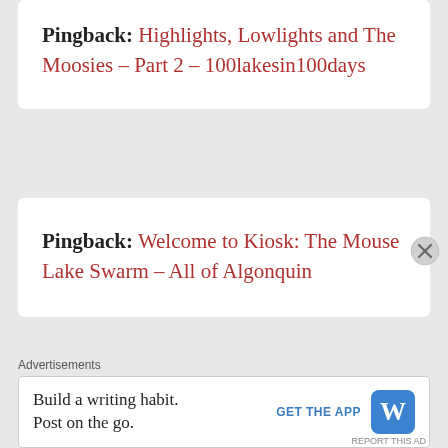Pingback: Highlights, Lowlights and The Moosies – Part 2 – 100lakesin100days
Pingback: Welcome to Kiosk: The Mouse Lake Swarm – All of Algonquin
Advertisements
Build a writing habit. Post on the go.
GET THE APP